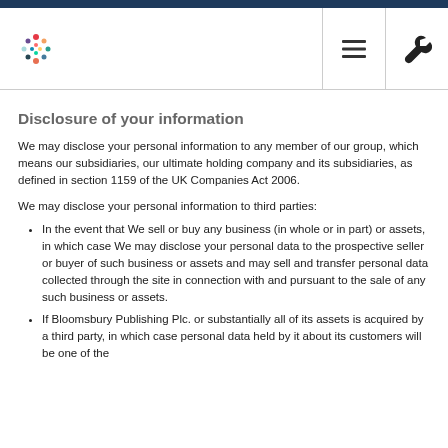Bloomsbury Publishing logo and navigation icons
Disclosure of your information
We may disclose your personal information to any member of our group, which means our subsidiaries, our ultimate holding company and its subsidiaries, as defined in section 1159 of the UK Companies Act 2006.
We may disclose your personal information to third parties:
In the event that We sell or buy any business (in whole or in part) or assets, in which case We may disclose your personal data to the prospective seller or buyer of such business or assets and may sell and transfer personal data collected through the site in connection with and pursuant to the sale of any such business or assets.
If Bloomsbury Publishing Plc. or substantially all of its assets is acquired by a third party, in which case personal data held by it about its customers will be one of the transferred assets.